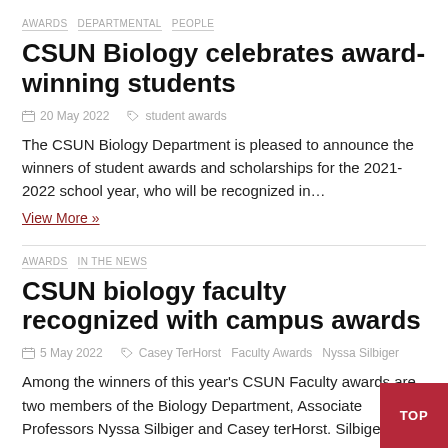AWARDS  DEPARTMENTAL  PEOPLE
CSUN Biology celebrates award-winning students
20 May 2022   student awards
The CSUN Biology Department is pleased to announce the winners of student awards and scholarships for the 2021-2022 school year, who will be recognized in…
View More »
AWARDS  IN THE NEWS
CSUN biology faculty recognized with campus awards
5 May 2022   Casey TerHorst  Faculty Awards  Nyssa Silbiger
Among the winners of this year's CSUN Faculty awards are two members of the Biology Department, Associate Professors Nyssa Silbiger and Casey terHorst. Silbiger